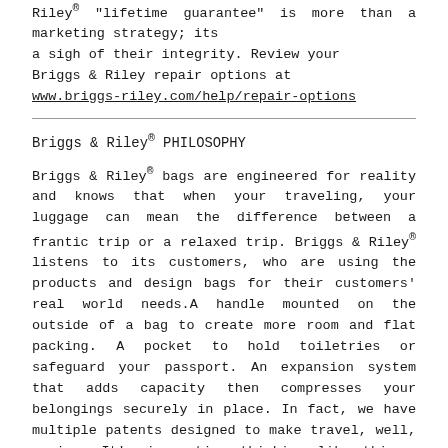Riley® "lifetime guarantee" is more than a marketing strategy; its a sigh of their integrity. Review your Briggs & Riley repair options at www.briggs-riley.com/help/repair-options
Briggs & Riley® PHILOSOPHY
Briggs & Riley® bags are engineered for reality and knows that when your traveling, your luggage can mean the difference between a frantic trip or a relaxed trip. Briggs & Riley® listens to its customers, who are using the products and design bags for their customers' real world needs.A handle mounted on the outside of a bag to create more room and flat packing. A pocket to hold toiletries or safeguard your passport. An expansion system that adds capacity then compresses your belongings securely in place. In fact, we have multiple patents designed to make travel, well, easier. It's innovative thinking like this – never for innovation's sake – that sets Briggs & Riley® apart. Now combine all that with the only unconditional lifetime guarantee in the business. It's no wonder our customers are nothing short of Fanatical about our bags. Read more about